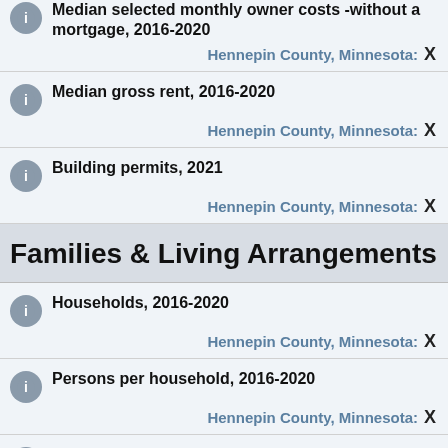Median selected monthly owner costs -without a mortgage, 2016-2020
Hennepin County, Minnesota: X
Median gross rent, 2016-2020
Hennepin County, Minnesota: X
Building permits, 2021
Hennepin County, Minnesota: X
Families & Living Arrangements
Households, 2016-2020
Hennepin County, Minnesota: X
Persons per household, 2016-2020
Hennepin County, Minnesota: X
Living in same house 1 year ago, percent of persons age 1 year+, 2016-2020